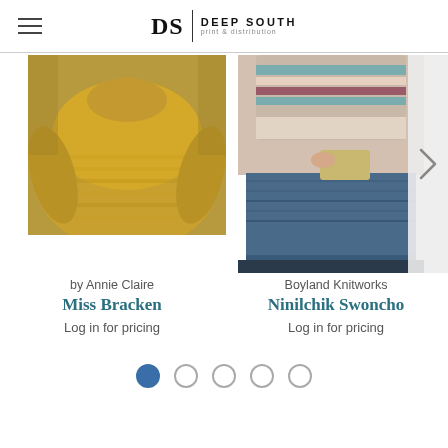DS | DEEP SOUTH print & distribution
[Figure (photo): Person wearing mustard/yellow knit sweater, top portion cropped]
[Figure (photo): Person wearing colorful Fair Isle style swoncho/poncho with denim shorts, holding a clutch]
by Annie Claire
Miss Bracken
Log in for pricing
Boyland Knitworks
Ninilchik Swoncho
Log in for pricing